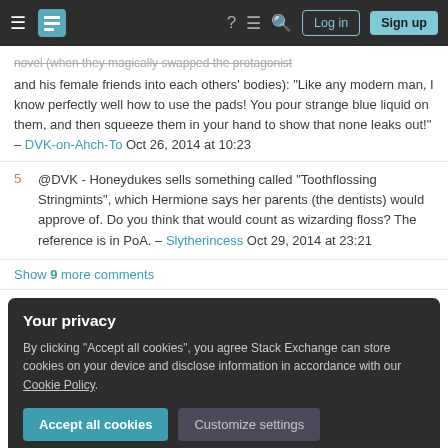Stack Exchange navigation bar with Log in and Sign up buttons
novel (when they magically swapped the protagonist and his female friends into each others' bodies): "Like any modern man, I know perfectly well how to use the pads! You pour strange blue liquid on them, and then squeeze them in your hand to show that none leaks out!" – DVK-on-Ahch-To Oct 26, 2014 at 10:23
5  @DVK - Honeydukes sells something called "Toothflossing Stringmints", which Hermione says her parents (the dentists) would approve of. Do you think that would count as wizarding floss? The reference is in PoA. – Slytherincess Oct 29, 2014 at 23:21
Show 9 more comments
Your privacy
By clicking "Accept all cookies", you agree Stack Exchange can store cookies on your device and disclose information in accordance with our Cookie Policy.
Accept all cookies   Customize settings
34  there is a magical implementation of every single